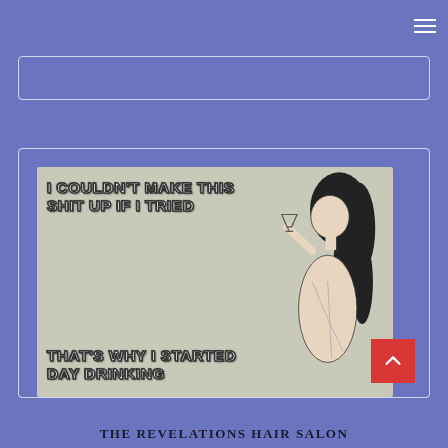[Figure (screenshot): Facebook/social media page screenshot with purple/periwinkle background, search bar, and a humorous ecard meme image showing a vintage-style woman drinking with text 'I COULDN'T MAKE THIS SHIT UP IF I TRIED THAT'S WHY I STARTED DAY DRINKING'. Below is text 'THE REVELATIONS HAIR SALON']
THE REVELATIONS HAIR SALON